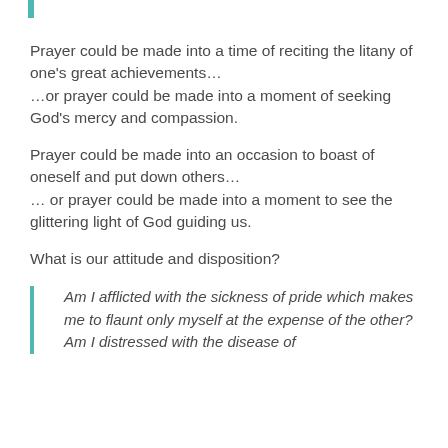Prayer could be made into a time of reciting the litany of one's great achievements… …or prayer could be made into a moment of seeking God's mercy and compassion.
Prayer could be made into an occasion to boast of oneself and put down others… … or prayer could be made into a moment to see the glittering light of God guiding us.
What is our attitude and disposition?
Am I afflicted with the sickness of pride which makes me to flaunt only myself at the expense of the other? Am I distressed with the disease of arrogance which makes me to see myself as…